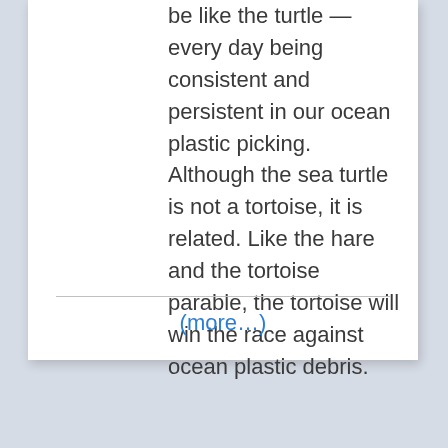be like the turtle — every day being consistent and persistent in our ocean plastic picking. Although the sea turtle is not a tortoise, it is related. Like the hare and the tortoise parable, the tortoise will win the race against ocean plastic debris.
(more…)